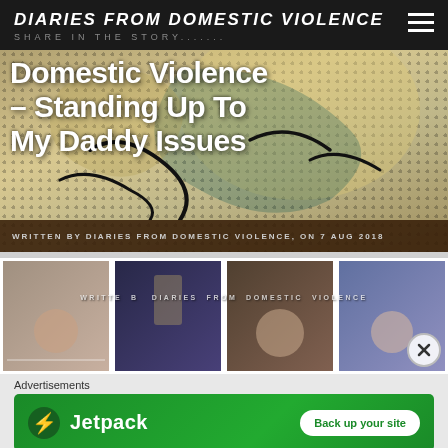DIARIES FROM DOMESTIC VIOLENCE — SHARE IN THE STORY.......
Domestic Violence – Standing Up To My Daddy Issues
WRITTEN BY DIARIES FROM DOMESTIC VIOLENCE, ON 7 AUG 2018
[Figure (photo): Strip of four polaroid-style photos showing people, with overlay text 'WRITTEN BY DIARIES FROM DOMESTIC VIOLENCE' and a close (X) button]
Advertisements
[Figure (screenshot): Jetpack advertisement banner with green background, Jetpack logo, and 'Back up your site' button]